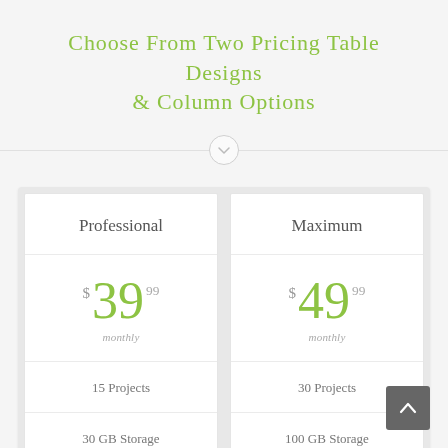Choose From Two Pricing Table Designs & Column Options
| Professional | Maximum |
| --- | --- |
| $39.99 monthly | $49.99 monthly |
| 15 Projects | 30 Projects |
| 30 GB Storage | 100 GB Storage |